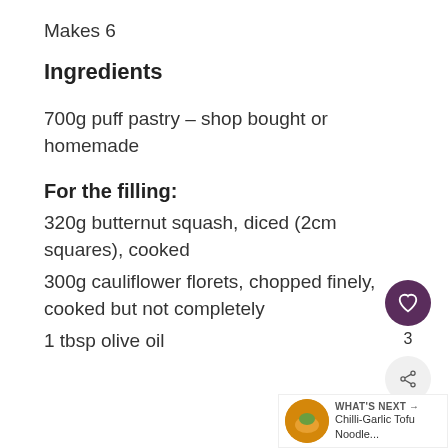Makes 6
Ingredients
700g puff pastry – shop bought or homemade
For the filling:
320g butternut squash, diced (2cm squares), cooked
300g cauliflower florets, chopped finely, cooked but not completely
1 tbsp olive oil